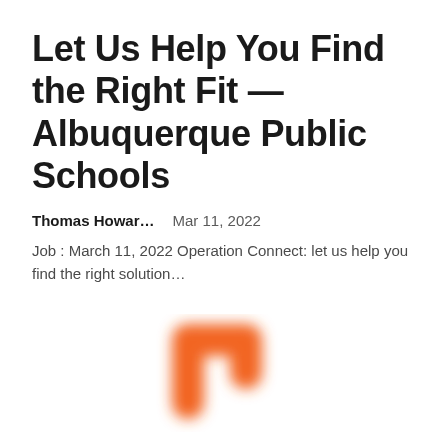Let Us Help You Find the Right Fit — Albuquerque Public Schools
Thomas Howar…    Mar 11, 2022
Job : March 11, 2022 Operation Connect: let us help you find the right solution…
[Figure (logo): Orange letter 'n' shape logo, blurred/soft edges, on white background]
NEUROMAKER PARTNERS WITH MASSHIRE AND